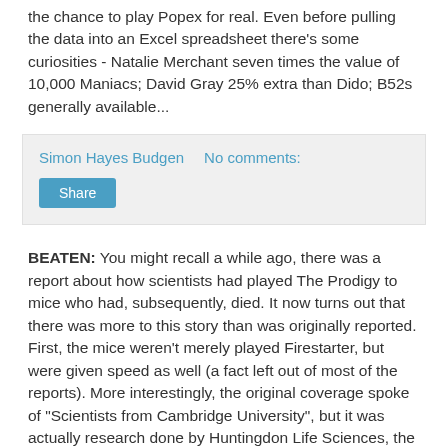the chance to play Popex for real. Even before pulling the data into an Excel spreadsheet there's some curiosities - Natalie Merchant seven times the value of 10,000 Maniacs; David Gray 25% extra than Dido; B52s generally available...
Simon Hayes Budgen    No comments:
Share
BEATEN: You might recall a while ago, there was a report about how scientists had played The Prodigy to mice who had, subsequently, died. It now turns out that there was more to this story than was originally reported. First, the mice weren't merely played Firestarter, but were given speed as well (a fact left out of most of the reports). More interestingly, the original coverage spoke of "Scientists from Cambridge University", but it was actually research done by Huntingdon Life Sciences, the company who have constantly been at the centre of allegations of dubious activities (this weekend it...